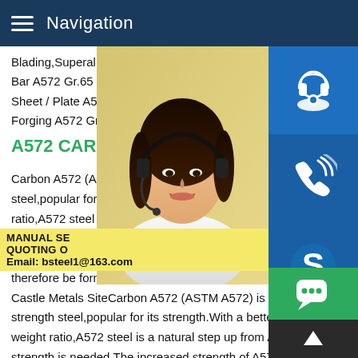Navigation
Blading,Superalloy Supplier.A572 Gr.65 R Bar A572 Gr.65 Hollow Bar A572 Gr.65 Tu Sheet / Plate A572 Gr.65 Strip / Coil A572 Forging A572 Gr.65 Tube / Pipe TEL:+86-
A572 CARBON In Stock Cast
Carbon A572 (ASTM A572) is a low alloy,h steel,popular for its strength.With a better ratio,A572 steel is a natural step up from A is needed.The increased strength of A572 compromise the steels ductility and weldability.A572 plate can therefore be formed,welded,and machined.A572 CARBON In Stock Castle Metals SiteCarbon A572 (ASTM A572) is a low alloy,high strength steel,popular for its strength.With a better strength to weight ratio,A572 steel is a natural step up from A36 when mo strength is needed.The increased strength of A572 plate does
[Figure (photo): Woman with headset, customer service representative]
MANUAL SE QUOTING O Email: bsteel1@163.com